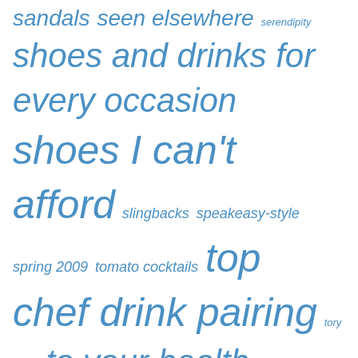sandals seen elsewhere serendipity shoes and drinks for every occasion shoes I can't afford slingbacks speakeasy-style spring 2009 tomato cocktails top chef drink pairing tory burch to your health valentines wedges what cocktail goes with these shoes
Archives
February 2022
January 2022
December 2012
November 2012
September 2012
February 2012
January 2012